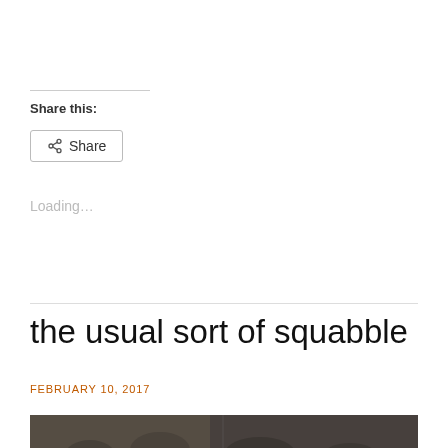Share this:
Share
Loading...
the usual sort of squabble
FEBRUARY 10, 2017
[Figure (photo): A dark vintage black and white photograph showing a crowd of people, partially visible at the bottom of the page.]